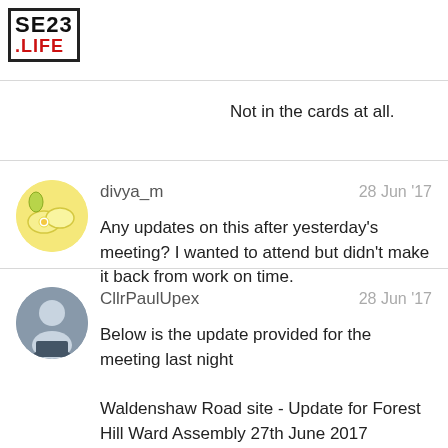SE23 .LIFE
Not in the cards at all.
divya_m  28 Jun '17
Any updates on this after yesterday's meeting? I wanted to attend but didn't make it back from work on time.
CllrPaulUpex  28 Jun '17
Below is the update provided for the meeting last night
Waldenshaw Road site - Update for Forest Hill Ward Assembly 27th June 2017
Background to nursery Closure